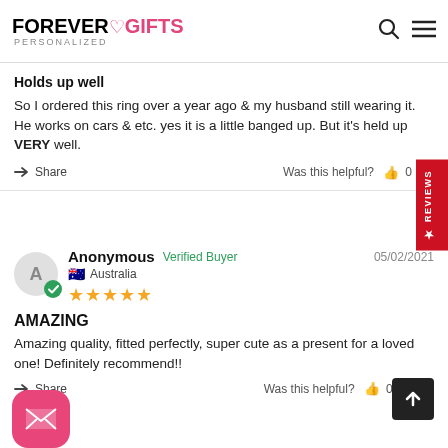FOREVER GIFTS PERSONALIZED
Holds up well
So I ordered this ring over a year ago & my husband still wearing it. He works on cars & etc. yes it is a little banged up. But it's held up VERY well.
Share   Was this helpful?  👍 0  👎
Anonymous  Verified Buyer   05/02/2021   Australia  ★★★★★
AMAZING
Amazing quality, fitted perfectly, super cute as a present for a loved one! Definitely recommend!!
Share   Was this helpful?  👍 0  👎 0